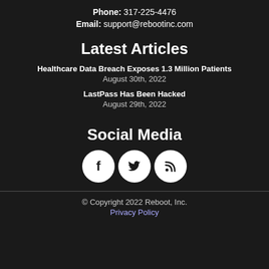Phone: 317-225-4476
Email: support@rebootinc.com
Latest Articles
Healthcare Data Breach Exposes 1.3 Million Patients
August 30th, 2022
LastPass Has Been Hacked
August 29th, 2022
Social Media
[Figure (illustration): Three circular social media icons: Facebook (f), Twitter (bird), RSS (signal)]
© Copyright 2022 Reboot, Inc.
Privacy Policy